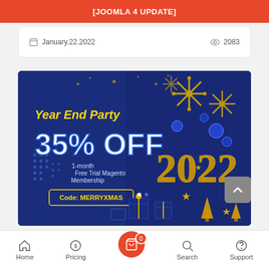[JOOMLA 4 UPDATE]
January.22.2022    2083
[Figure (infographic): Year End Party promotional banner on dark blue background. Shows '35% OFF' in large bold white text, '1-month Free Trial Magento Membership', 'Code: MERRYXMAS', '2022' in gold, golden snowflakes, blue ornament balls, gift boxes, and star decorations.]
News-Updates
Home  Pricing  [cart 0]  Search  Support